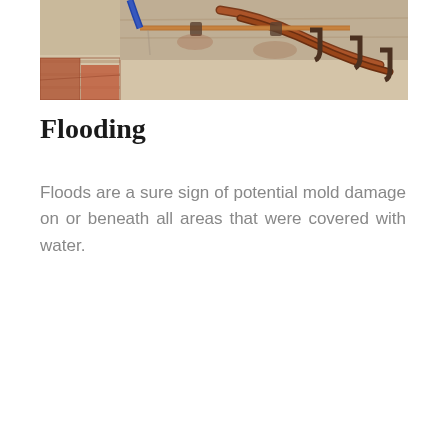[Figure (photo): Photo showing corroded copper and iron pipes on a stone or concrete wall, with red-brown terracotta tile flooring visible in the foreground, suggesting water damage and aging infrastructure.]
Flooding
Floods are a sure sign of potential mold damage on or beneath all areas that were covered with water.